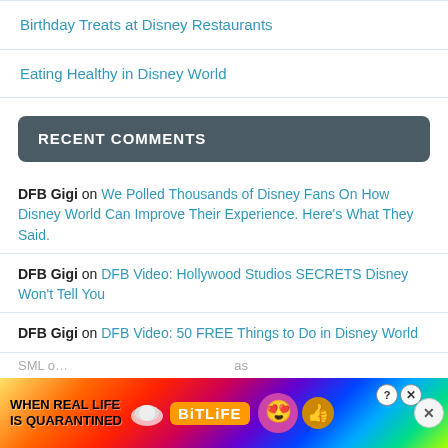Birthday Treats at Disney Restaurants
Eating Healthy in Disney World
RECENT COMMENTS
DFB Gigi on We Polled Thousands of Disney Fans On How Disney World Can Improve Their Experience. Here's What They Said.
DFB Gigi on DFB Video: Hollywood Studios SECRETS Disney Won't Tell You
DFB Gigi on DFB Video: 50 FREE Things to Do in Disney World
SML o...
[Figure (screenshot): Advertisement banner for BitLife game reading WHEN REAL LIFE IS QUARANTINED with colorful rainbow background and emoji character]